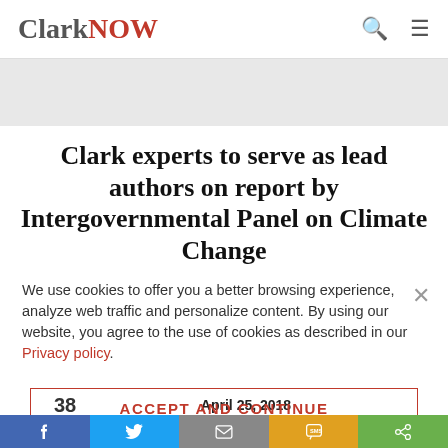ClarkNOW
Clark experts to serve as lead authors on report by Intergovernmental Panel on Climate Change
We use cookies to offer you a better browsing experience, analyze web traffic and personalize content. By using our website, you agree to the use of cookies as described in our Privacy policy.
April 25, 2018
38 Shares
ACCEPT AND CONTINUE